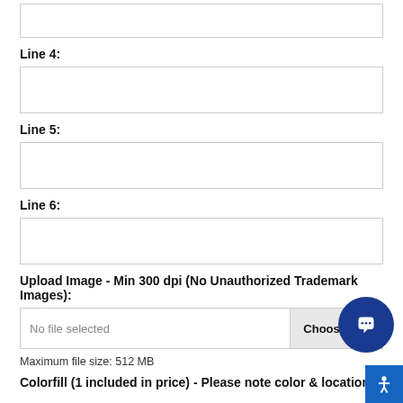(input box at top — continuation of previous field)
Line 4:
(text input field)
Line 5:
(text input field)
Line 6:
(text input field)
Upload Image - Min 300 dpi (No Unauthorized Trademark Images):
No file selected   Choose File
Maximum file size: 512 MB
Colorfill (1 included in price) - Please note color & location: